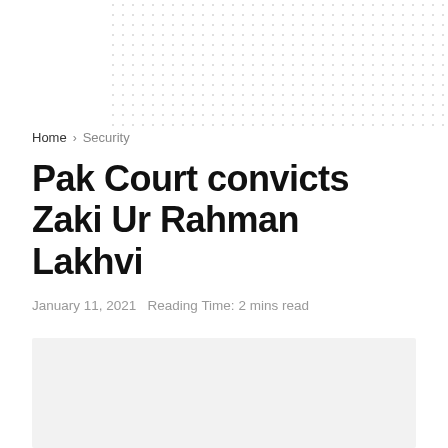[Figure (other): Decorative dot pattern background in upper right corner]
Home › Security
Pak Court convicts Zaki Ur Rahman Lakhvi
January 11, 2021  Reading Time: 2 mins read
[Figure (photo): Article image placeholder (light gray rectangle)]